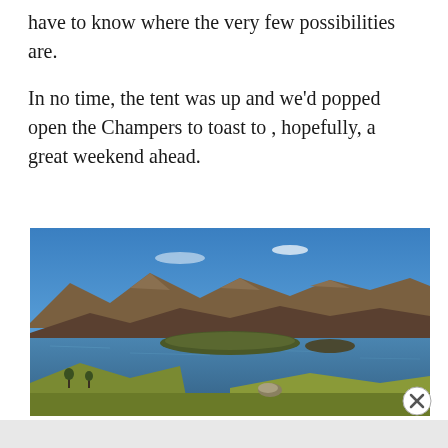have to know where the very few possibilities are.

In no time, the tent was up and we'd popped open the Champers to toast to , hopefully, a great weekend ahead.
[Figure (photo): Panoramic landscape photo of a Scottish loch with mountains in the background under a clear blue sky, green grassy foreground and a small island visible in the water.]
Advertisements